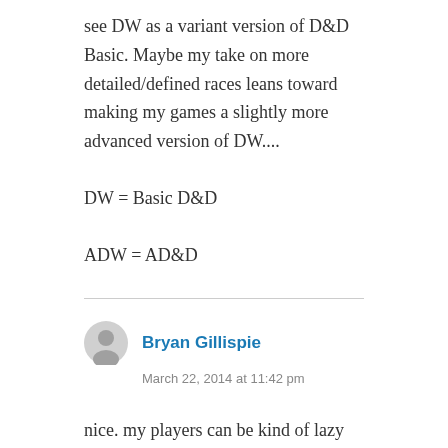see DW as a variant version of D&D Basic. Maybe my take on more detailed/defined races leans toward making my games a slightly more advanced version of DW....
DW = Basic D&D
ADW = AD&D
Bryan Gillispie
March 22, 2014 at 11:42 pm
nice. my players can be kind of lazy so they like